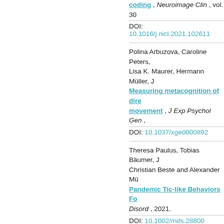coding , Neuroimage Clin , vol. 30
DOI: 10.1016/j.nicl.2021.102611
Polina Arbuzova, Caroline Peters, Lisa K. Maurer, Hermann Müller, J... Measuring metacognition of direction of movement , J Exp Psychol Gen , ...
DOI: 10.1037/xge0000892
Theresa Paulus, Tobias Bäumer, J... Christian Beste and Alexander Mü... Pandemic Tic-like Behaviors Fo... Disord , 2021.
DOI: 10.1002/mds.28800
Sebastian Löns, Julius Verrel, Vera... Anne Weissbach, Johanna Junker. Motor learning deficits in cervica... ganglia circuitry , Sci Rep , vol. 1...
DOI: 10.1038/s41598-021-86513-...